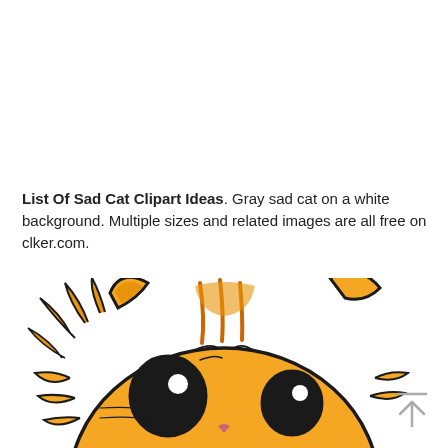List Of Sad Cat Clipart Ideas. Gray sad cat on a white background. Multiple sizes and related images are all free on clker.com.
[Figure (illustration): Cartoon orange tabby cat peeking up from the bottom of the frame, showing the top of its head with big black eyes, orange fur with dark stripes, pointy ears, and fluffy cheeks — drawn in a cute clipart style.]